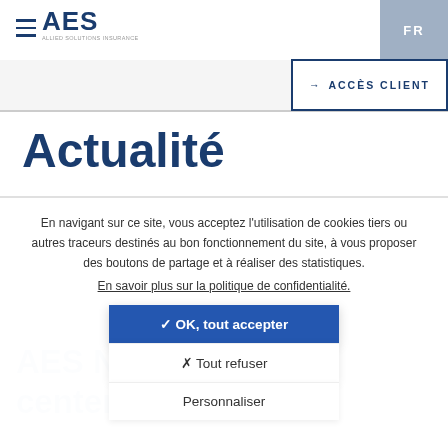AES  FR
→ ACCÈS CLIENT
Actualité
En navigant sur ce site, vous acceptez l'utilisation de cookies tiers ou autres traceurs destinés au bon fonctionnement du site, à vous proposer des boutons de partage et à réaliser des statistiques.
En savoir plus sur la politique de confidentialité.
✓ OK, tout accepter
✗ Tout refuser
Personnaliser
AES New Overhaul center in Elkhart, IN